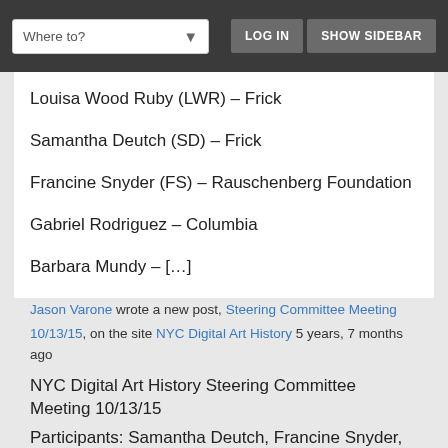Where to? | LOG IN | SHOW SIDEBAR
Louisa Wood Ruby (LWR) – Frick
Samantha Deutch (SD) – Frick
Francine Snyder (FS) – Rauschenberg Foundation
Gabriel Rodriguez – Columbia
Barbara Mundy – […]
Jason Varone wrote a new post, Steering Committee Meeting
10/13/15, on the site NYC Digital Art History 5 years, 7 months ago
NYC Digital Art History Steering Committee Meeting 10/13/15
Participants: Samantha Deutch, Francine Snyder, Gabriel